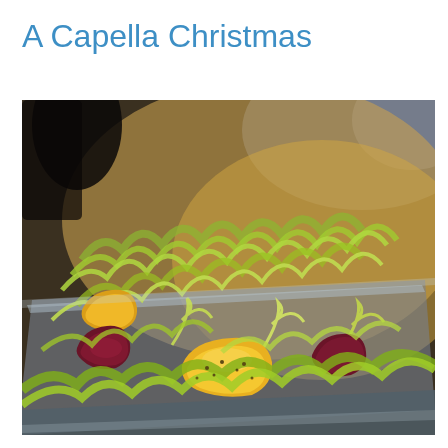A Capella Christmas
[Figure (photo): Close-up photograph of a colorful salad served in a long rectangular tray. The salad features golden/orange beet cubes, deep red/purple beet pieces, and frisée or mixed greens with what appears to be a vinaigrette dressing with small seeds. The background is softly blurred showing a warm bokeh effect.]